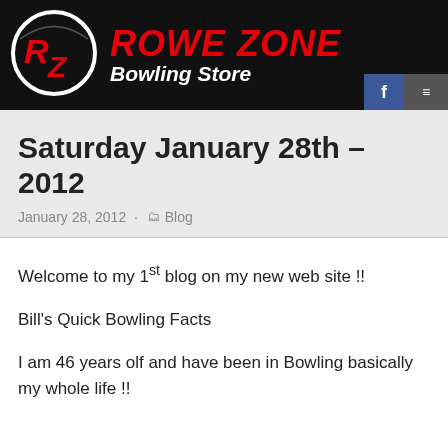[Figure (logo): Rowe Zone Bowling Store logo with circular RZ emblem on black background header bar]
Rowe Zone Bowling Store
Saturday January 28th – 2012
January 28, 2012 · Blog
Welcome to my 1st blog on my new web site !!
Bill's Quick Bowling Facts
I am 46 years olf and have been in Bowling basically my whole life !!